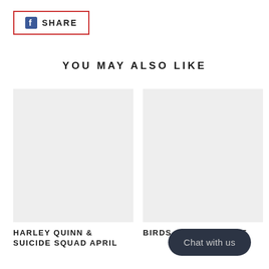[Figure (screenshot): Facebook Share button with red border outline, Facebook logo icon on the left and SHARE text in bold caps]
YOU MAY ALSO LIKE
[Figure (photo): Placeholder light grey rectangle for Harley Quinn & Suicide Squad product image]
HARLEY QUINN & SUICIDE SQUAD APRIL
[Figure (photo): Placeholder light grey rectangle for Birds of Prey Giant product image]
BIRDS OF PREY GIANT
Chat with us